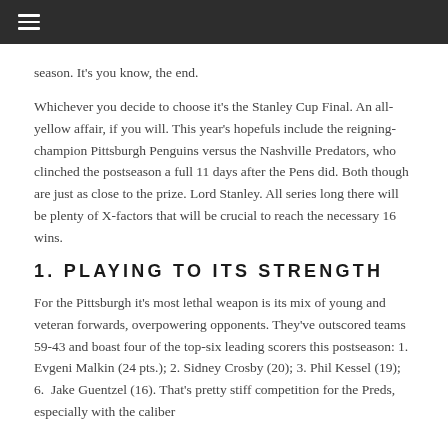☰
season. It's you know, the end.
Whichever you decide to choose it's the Stanley Cup Final. An all-yellow affair, if you will. This year's hopefuls include the reigning-champion Pittsburgh Penguins versus the Nashville Predators, who clinched the postseason a full 11 days after the Pens did. Both though are just as close to the prize. Lord Stanley. All series long there will be plenty of X-factors that will be crucial to reach the necessary 16 wins.
1. PLAYING TO ITS STRENGTH
For the Pittsburgh it's most lethal weapon is its mix of young and veteran forwards, overpowering opponents. They've outscored teams 59-43 and boast four of the top-six leading scorers this postseason: 1. Evgeni Malkin (24 pts.); 2. Sidney Crosby (20); 3. Phil Kessel (19); 6.  Jake Guentzel (16). That's pretty stiff competition for the Preds, especially with the caliber